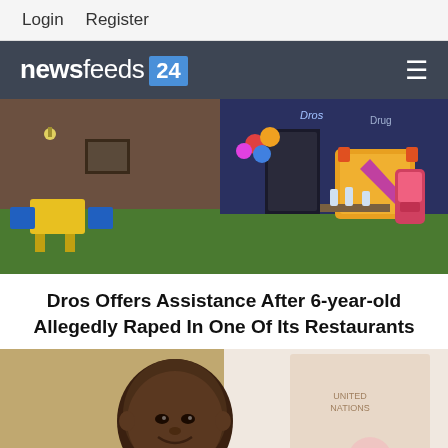Login   Register
newsfeeds 24
[Figure (photo): Interior of a Dros restaurant showing a children's play area with a bounce castle, slide, colourful balloons, yellow children's tables and chairs, green artificial turf, and candy dispensers.]
Dros Offers Assistance After 6-year-old Allegedly Raped In One Of Its Restaurants
[Figure (photo): Portrait photo of a smiling African man in a suit with a microphone in front of him and a banner in the background.]